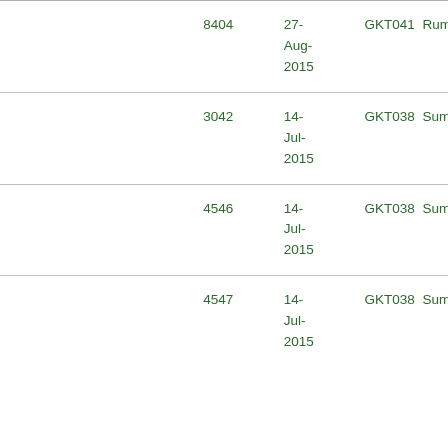|  | ID | Date | Code | Name |
| --- | --- | --- | --- | --- |
|  | 8404 | 27-Aug-2015 | GKT041 | Rum... |
|  | 3042 | 14-Jul-2015 | GKT038 | Sum... |
|  | 4546 | 14-Jul-2015 | GKT038 | Sum... |
|  | 4547 | 14-Jul-2015 | GKT038 | Sum... |